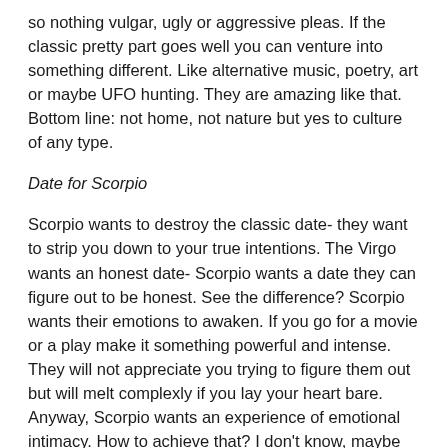so nothing vulgar, ugly or aggressive pleas. If the classic pretty part goes well you can venture into something different. Like alternative music, poetry, art or maybe UFO hunting. They are amazing like that. Bottom line: not home, not nature but yes to culture of any type.
Date for Scorpio
Scorpio wants to destroy the classic date- they want to strip you down to your true intentions. The Virgo wants an honest date- Scorpio wants a date they can figure out to be honest. See the difference? Scorpio wants their emotions to awaken. If you go for a movie or a play make it something powerful and intense. They will not appreciate you trying to figure them out but will melt complexly if you lay your heart bare. Anyway, Scorpio wants an experience of emotional intimacy. How to achieve that? I don't know, maybe save their life? Or at least show you would.